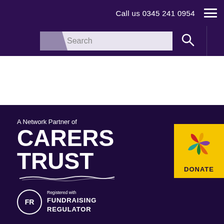Call us 0345 241 0954
Search
[Figure (logo): Carers Trust network partner logo with CARERS TRUST in large bold white text on dark purple background, with handwritten-style underline, text 'A Network Partner of' above]
[Figure (logo): Fundraising Regulator badge: circle with FR letters, text 'Registered with FUNDRAISING REGULATOR']
[Figure (logo): DONATE button: yellow square with colorful flower/star icon and DONATE text below]